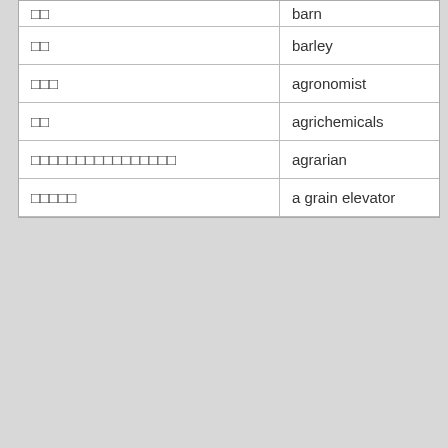| (Japanese) | (English) |
| --- | --- |
| [partial] | barn |
| □□ | barley |
| □□□ | agronomist |
| □□ | agrichemicals |
| □□□□□□□□□□□□□□□□ | agrarian |
| □□□□□ | a grain elevator |
Home□□□
□□□□□□□□□□□□  □□□□  Privacy Policy  □□□□(RSS)  □□□□□□□□□  Copyright © 2008-2020 Cybozu La...